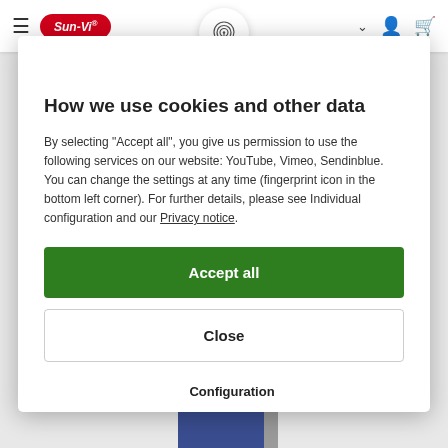[Figure (screenshot): Sun-Vi website navigation bar with hamburger menu, Sun-Vi red oval logo, fingerprint icon in center, chevron, user icon, and cart icon]
[Figure (illustration): Fingerprint icon in circular white badge at top of cookie consent modal]
How we use cookies and other data
By selecting "Accept all", you give us permission to use the following services on our website: YouTube, Vimeo, Sendinblue. You can change the settings at any time (fingerprint icon in the bottom left corner). For further details, please see Individual configuration and our Privacy notice.
Accept all
Close
Configuration